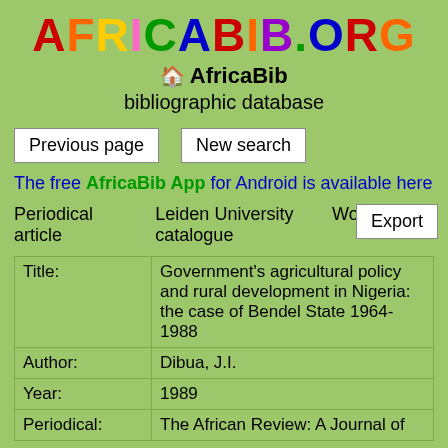AFRICABIB.ORG
🏠 AfricaBib
bibliographic database
Previous page
New search
The free AfricaBib App for Android is available here
Periodical article   Leiden University catalogue   WorldCat   Export
| Field | Value |
| --- | --- |
| Title: | Government's agricultural policy and rural development in Nigeria: the case of Bendel State 1964-1988 |
| Author: | Dibua, J.I. |
| Year: | 1989 |
| Periodical: | The African Review: A Journal of |